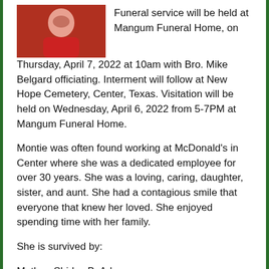[Figure (photo): Photo of a person wearing red clothing, cropped at top of page]
Funeral service will be held at Mangum Funeral Home, on Thursday, April 7, 2022 at 10am with Bro. Mike Belgard officiating. Interment will follow at New Hope Cemetery, Center, Texas. Visitation will be held on Wednesday, April 6, 2022 from 5-7PM at Mangum Funeral Home.
Montie was often found working at McDonald's in Center where she was a dedicated employee for over 30 years. She was a loving, caring, daughter, sister, and aunt. She had a contagious smile that everyone that knew her loved. She enjoyed spending time with her family.
She is survived by:
Mother, Shirley B. Adams
Sister, Sylvia Adams